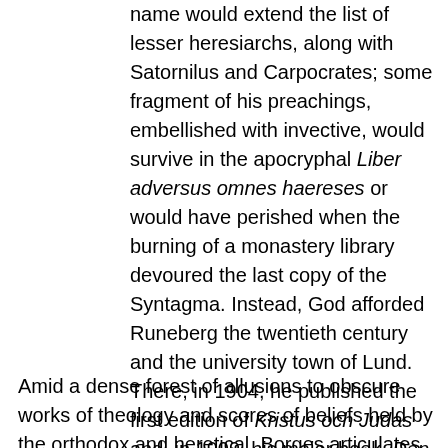name would extend the list of lesser heresiarchs, along with Satornilus and Carpocrates; some fragment of his preachings, embellished with invective, would survive in the apocryphal Liber adversus omnes haereses or would have perished when the burning of a monastery library devoured the last copy of the Syntagma. Instead, God afforded Runeberg the twentieth century and the university town of Lund. There, in 1904, he published the first edition of Kristus och Judas and, in 1909, his major book, Den hemlige Frälsaren. (Of the latter there is a German translation, made in 1912 by Emil Schering; it is called Der heimliche Heiland.)
Amid a dense forest of allusions to obscure works of theology and scores of beliefs held by the orthodox and heretical, Borges articulates the three theories developed